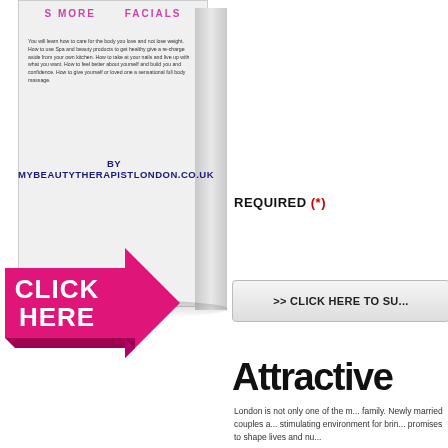[Figure (illustration): Book cover with pink/purple title text and 'BY MYBEAUTYTHERAPISTLONDON.CO.UK' author text, with a pink 'CLICK HERE' arrow graphic overlaid at the bottom-left]
REQUIRED (*)
>> CLICK HERE TO SU...
Attractive...
London is not only one of the m... family. Newly married couples a... stimulating environment for brin... promises to shape lives and nu...
The Need f...